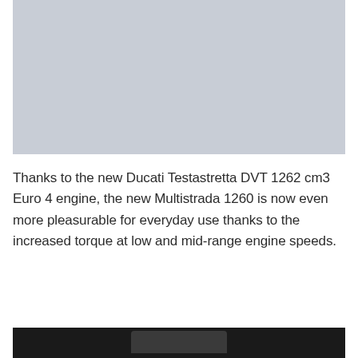[Figure (photo): Light gray/silver placeholder rectangle representing a motorcycle or product photo, upper portion of page]
Thanks to the new Ducati Testastretta DVT 1262 cm3 Euro 4 engine, the new Multistrada 1260 is now even more pleasurable for everyday use thanks to the increased torque at low and mid-range engine speeds.
[Figure (photo): Dark/black and white photo, partially visible at bottom of page, appears to show motorcycle cockpit or handlebar area]